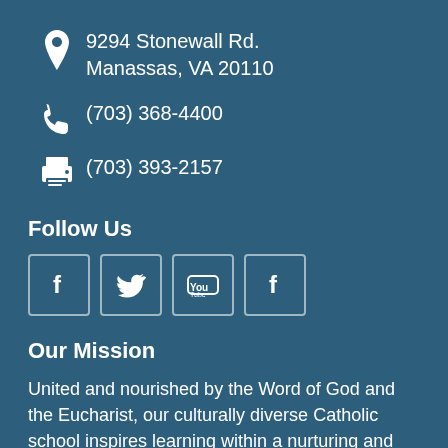9294 Stonewall Rd.
Manassas, VA 20110
(703) 368-4400
(703) 393-2157
Follow Us
[Figure (other): Social media icons: Facebook, Twitter, YouTube, Flickr]
Our Mission
United and nourished by the Word of God and the Eucharist, our culturally diverse Catholic school inspires learning within a nurturing and dynamic environment of academic excellence